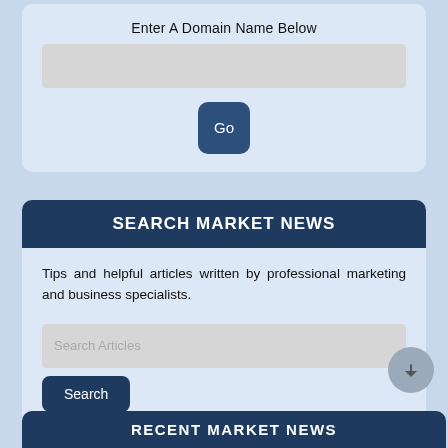Enter A Domain Name Below
[Figure (screenshot): A text input field for entering a domain name]
[Figure (screenshot): A 'Go' button with dark blue background and rounded corners]
SEARCH MARKET NEWS
Tips and helpful articles written by professional marketing and business specialists.
[Figure (screenshot): A search input field with placeholder text 'Search Articles']
[Figure (screenshot): A 'Search' button with dark blue background and rounded corners]
RECENT MARKET NEWS